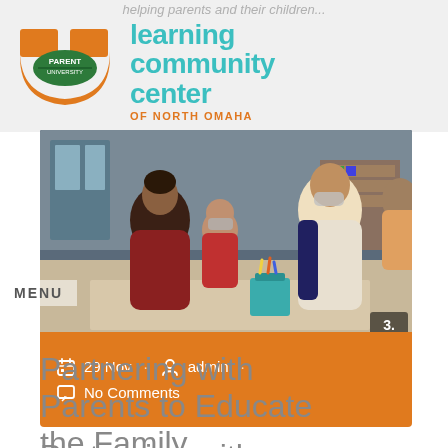helping parents and their children...
[Figure (logo): Parent University logo with orange U shape and green badge, alongside 'learning community center OF NORTH OMAHA' text in teal]
[Figure (photo): Photo of adults and children in a classroom setting, sitting at a table, wearing masks, with school supplies visible. Channel 3 logo in corner.]
MENU
29 Nov · admin · No Comments
Partnering with Parents to Educate the Family